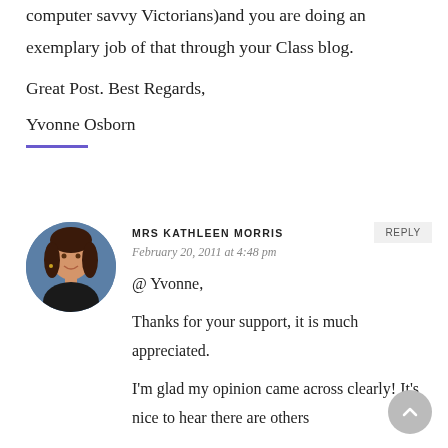computer savvy Victorians)and you are doing an exemplary job of that through your Class blog.
Great Post. Best Regards,
Yvonne Osborn
MRS KATHLEEN MORRIS
February 20, 2011 at 4:48 pm
@ Yvonne,

Thanks for your support, it is much appreciated.

I'm glad my opinion came across clearly! It's nice to hear there are others